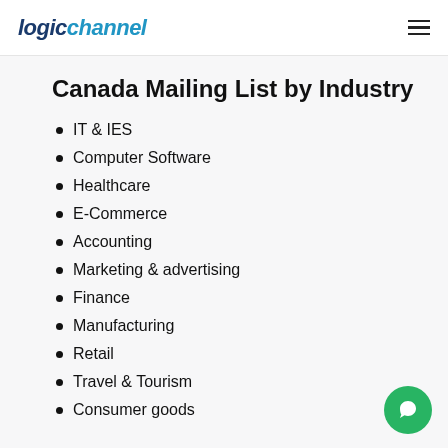logichannel
Canada Mailing List by Industry
IT & IES
Computer Software
Healthcare
E-Commerce
Accounting
Marketing & advertising
Finance
Manufacturing
Retail
Travel & Tourism
Consumer goods